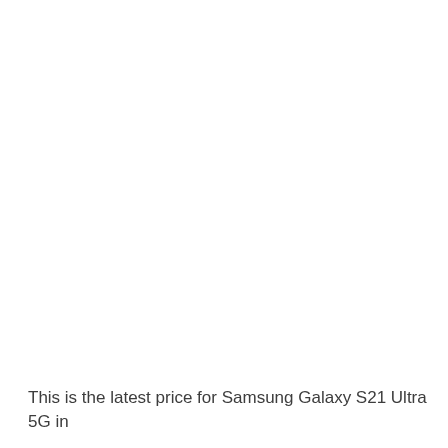This is the latest price for Samsung Galaxy S21 Ultra 5G in